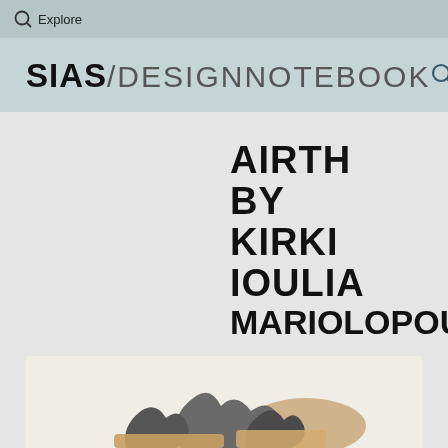Explore
SIAS/DESIGNNOTEBOOK
AIRTH BY KIRKI IOULIA MARIOLOPOULOU
[Figure (photo): Partial view of a design object or sculpture at the bottom of the page]